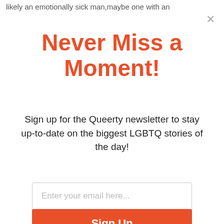likely an emotionally sick man,maybe one with an
Never Miss a Moment!
Sign up for the Queerty newsletter to stay up-to-date on the biggest LGBTQ stories of the day!
Enter your email here...
Sign Up